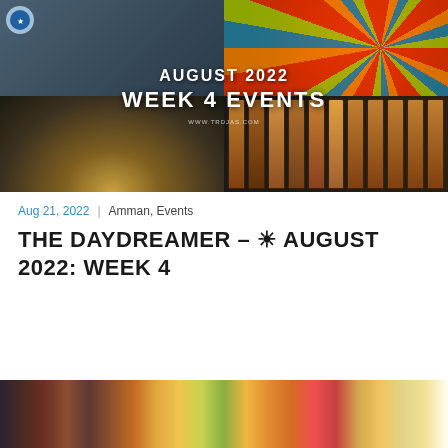[Figure (photo): Collage of four photos: top-left shows a rooftop restaurant/venue with tables and chairs; top-right shows a colorful mandala pattern in red, teal, and yellow; bottom-left shows singing bowls and wellness items; bottom-right shows a row of electric guitars hanging in a music store. Overlaid text reads 'AUGUST 2022 WEEK 4 EVENTS' in bold white. Small URL 'WWW.TRDJAS.COM' at bottom.]
Aug 21, 2022 | Amman, Events
THE DAYDREAMER – ☀ AUGUST 2022: WEEK 4
[Figure (photo): Partial photo at bottom of page showing colorful food items including fruits and bright-colored dishes, cropped at the bottom edge.]